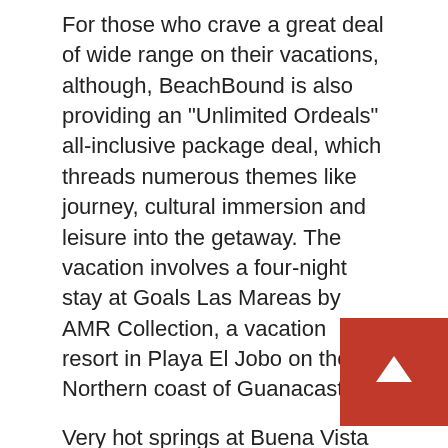For those who crave a great deal of wide range on their vacations, although, BeachBound is also providing an “Unlimited Ordeals” all-inclusive package deal, which threads numerous themes like journey, cultural immersion and leisure into the getaway. The vacation involves a four-night stay at Goals Las Mareas by AMR Collection, a vacation resort in Playa El Jobo on the Northern coast of Guanacaste.
Very hot springs at Buena Vista del Rincon in Costa Rica.
BeachBound
On the itinerary, for instance, is a journey to Buena Vista Del Rincon, an eco-experience park in Guanacaste. Shaded by a canopy of trees, a 1,500-